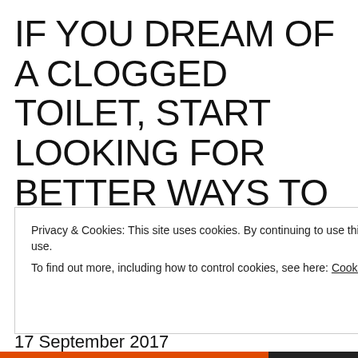IF YOU DREAM OF A CLOGGED TOILET, START LOOKING FOR BETTER WAYS TO LET GO OF YOUR S*&T.
JANUARY 3, 2018   1 COMMENT
17 September 2017
One of the most misunderstood metaphors in DreamWork/Changework is the BATHROOM. Using...
Privacy & Cookies: This site uses cookies. By continuing to use this website, you agree to their use. To find out more, including how to control cookies, see here: Cookie Policy
Close and accept